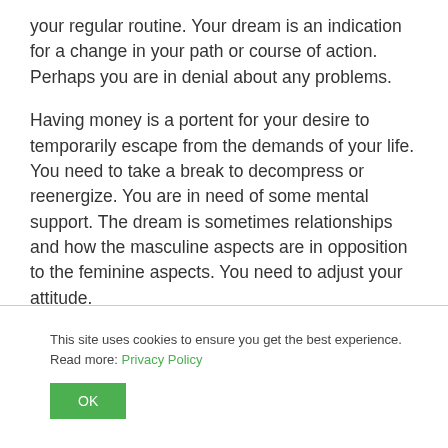your regular routine. Your dream is an indication for a change in your path or course of action. Perhaps you are in denial about any problems.
Having money is a portent for your desire to temporarily escape from the demands of your life. You need to take a break to decompress or reenergize. You are in need of some mental support. The dream is sometimes relationships and how the masculine aspects are in opposition to the feminine aspects. You need to adjust your attitude.
This site uses cookies to ensure you get the best experience. Read more: Privacy Policy
OK